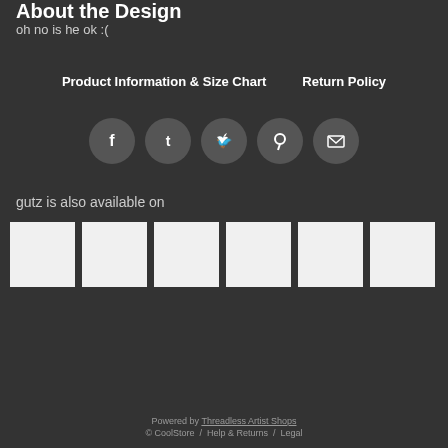About the Design
oh no is he ok :(
Product Information & Size Chart    Return Policy
[Figure (other): Social media share buttons: Facebook, Tumblr, Twitter, Pinterest, Email — each in a grey circle]
gutz is also available on
[Figure (other): Six white square product thumbnail images in a horizontal row]
Powered by Threadless Artist Shops
© CoolStore  /  Help & Returns  /  Legal